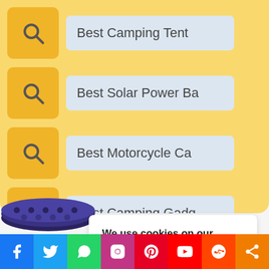Best Camping Tent
Best Solar Power Ba
Best Motorcycle Ca
Best Camping Gadg
We use cookies on our website to give you the most relevant experience.
Cookie Settings
Accept All
[Figure (screenshot): Social media share bar with icons for Facebook, Twitter, WhatsApp, Instagram, Pinterest, YouTube, Reddit, and Share]